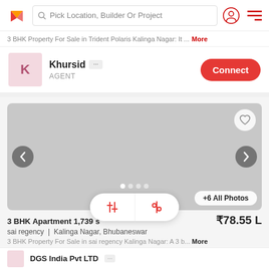Pick Location, Builder Or Project
3 BHK Property For Sale in Trident Polaris Kalinga Nagar: It ... More
Khursid AGENT Connect
[Figure (screenshot): Property listing image placeholder (gray), with heart/favorite button, left/right navigation arrows, image dots indicator, and +6 All Photos button]
3 BHK Apartment 1,739 sq ft  ₹78.55 L
sai regency  |  Kalinga Nagar, Bhubaneswar
3 BHK Property For Sale in sai regency Kalinga Nagar: A 3 b... More
DGS India Pvt LTD